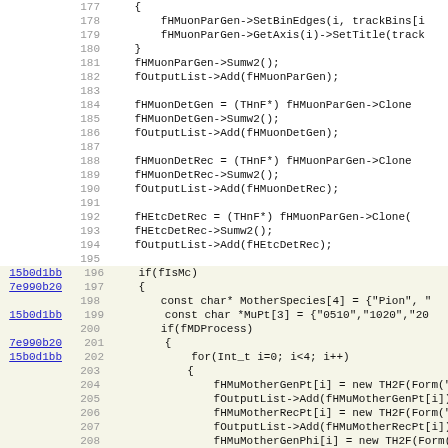[Figure (screenshot): Source code listing (C++ code) with line numbers 177-208, git blame hashes shown on left for some lines (15b0d1bb, 7e990b20). Some lines have yellow/beige highlight background. Code includes fHMuonParGen, fHMuonDetGen, fHMuonDetRec, fHEtcDetRec histogram setup, and MC block with MotherSpecies, MuPt arrays and nested loops.]